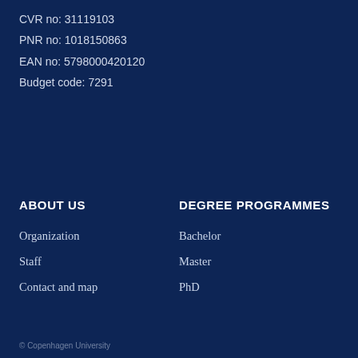CVR no: 31119103
PNR no: 1018150863
EAN no: 5798000420120
Budget code: 7291
ABOUT US
Organization
Staff
Contact and map
DEGREE PROGRAMMES
Bachelor
Master
PhD